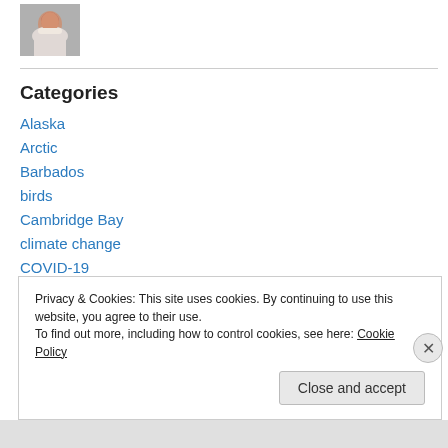[Figure (photo): Small circular profile photo of a woman with a scarf]
Categories
Alaska
Arctic
Barbados
birds
Cambridge Bay
climate change
COVID-19
Cree
Privacy & Cookies: This site uses cookies. By continuing to use this website, you agree to their use.
To find out more, including how to control cookies, see here: Cookie Policy
Close and accept